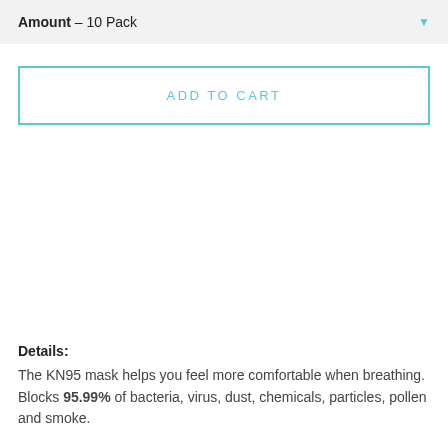Amount – 10 Pack
ADD TO CART
Details:
The KN95 mask helps you feel more comfortable when breathing. Blocks 95.99% of bacteria, virus, dust, chemicals, particles, pollen and smoke.